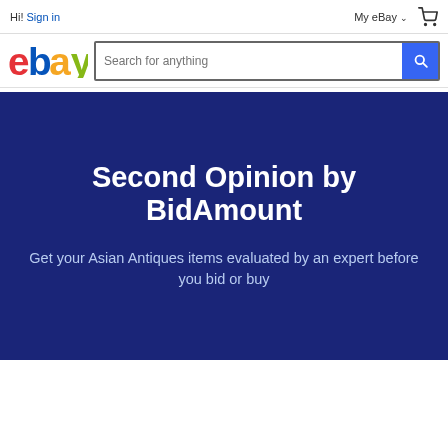Hi! Sign in  |  My eBay ∨  [cart]
[Figure (screenshot): eBay logo (colorful letters e-b-a-y) and search bar with 'Search for anything' placeholder and blue search button]
[Figure (infographic): Dark navy blue promotional banner with white bold text 'Second Opinion by BidAmount' and lighter subtitle 'Get your Asian Antiques items evaluated by an expert before you bid or buy']